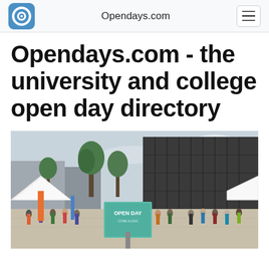Opendays.com
Opendays.com - the university and college open day directory
[Figure (photo): Outdoor university open day scene showing crowds of people walking around stalls and tents near a modern dark-clad building with trees, and a sign reading OPEN DAY in the foreground.]